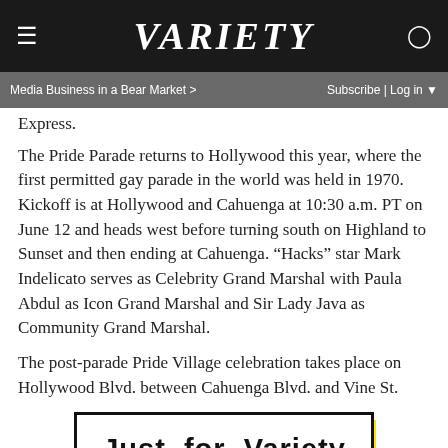VARIETY
Media Business in a Bear Market > | Subscribe | Log in
Express.
The Pride Parade returns to Hollywood this year, where the first permitted gay parade in the world was held in 1970. Kickoff is at Hollywood and Cahuenga at 10:30 a.m. PT on June 12 and heads west before turning south on Highland to Sunset and then ending at Cahuenga. “Hacks” star Mark Indelicato serves as Celebrity Grand Marshal with Paula Abdul as Icon Grand Marshal and Sir Lady Java as Community Grand Marshal.
The post-parade Pride Village celebration takes place on Hollywood Blvd. between Cahuenga Blvd. and Vine St.
[Figure (illustration): Just for Variety by Marc Malkin promotional banner/logo with bold black text on white background with yellow drop shadow, followed by a circular avatar image at the bottom]